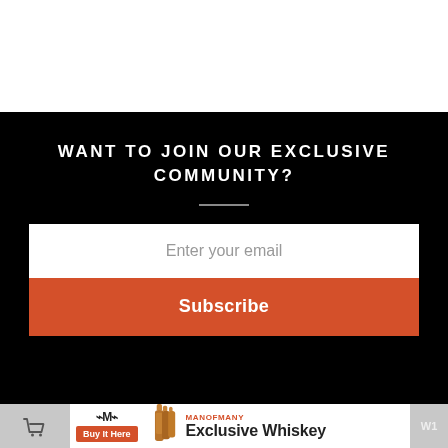WANT TO JOIN OUR EXCLUSIVE COMMUNITY?
Enter your email
Subscribe
[Figure (infographic): Advertisement banner for ManOfMany Exclusive Whiskey with logo, bottle imagery, and Buy It Here button]